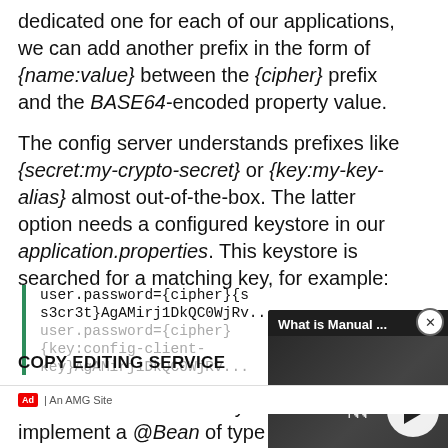dedicated one for each of our applications, we can add another prefix in the form of {name:value} between the {cipher} prefix and the BASE64-encoded property value.
The config server understands prefixes like {secret:my-crypto-secret} or {key:my-key-alias} almost out-of-the-box. The latter option needs a configured keystore in our application.properties. This keystore is searched for a matching key, for example:
[Figure (screenshot): Video overlay popup titled 'What is Manual ...' with media player controls (previous, play, next buttons), progress bar, and bottom controls]
user.password={cipher}{s
s3cr3t}AgAMirj1DkQC0WjRv...
user.password={cipher}{key:config-client-key}AgAMirj1DkQC0WjRv...
COPY EDITING SERVICE
For scenarios without keystore, we have to implement a @Bean of type